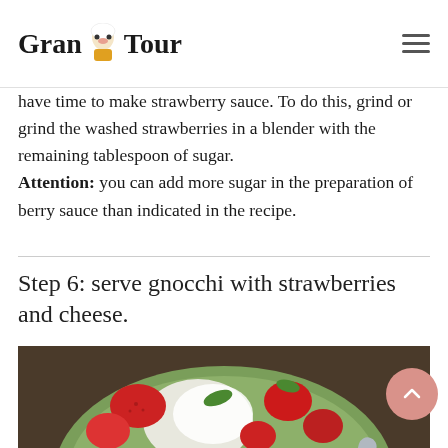Grand Tour
have time to make strawberry sauce. To do this, grind or grind the washed strawberries in a blender with the remaining tablespoon of sugar. Attention: you can add more sugar in the preparation of berry sauce than indicated in the recipe.
Step 6: serve gnocchi with strawberries and cheese.
[Figure (photo): Close-up photo of a plate of gnocchi served with strawberries and cheese on a green plate with a spoon visible]